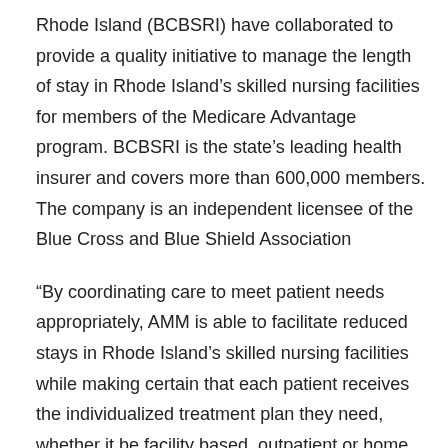Rhode Island (BCBSRI) have collaborated to provide a quality initiative to manage the length of stay in Rhode Island’s skilled nursing facilities for members of the Medicare Advantage program. BCBSRI is the state’s leading health insurer and covers more than 600,000 members. The company is an independent licensee of the Blue Cross and Blue Shield Association
“By coordinating care to meet patient needs appropriately, AMM is able to facilitate reduced stays in Rhode Island’s skilled nursing facilities while making certain that each patient receives the individualized treatment plan they need, whether it be facility based, outpatient or home care.” says Claire Levitt, AMM president.
Julie O’Brien, AMM’s COO states, “AMM implemented an electronic interface for the SNF’s to have online access for concurrent review for their population. This quality initiative has been rolled out to the